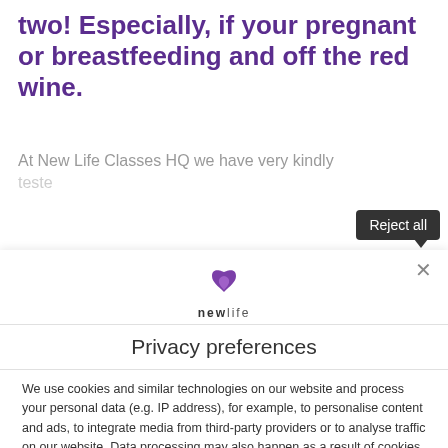two! Especially, if your pregnant or breastfeeding and off the red wine.
At New Life Classes HQ we have very kindly teste
[Figure (logo): New Life logo: purple heart icon above text 'newlife']
Privacy preferences
We use cookies and similar technologies on our website and process your personal data (e.g. IP address), for example, to personalise content and ads, to integrate media from third-party providers or to analyse traffic on our website. Data processing may also happen as a result of cookies being set. We share this data with third parties that we name in the privacy and cookie settings.
The data processing may take place with your consent or on the basis of a
Reject all
Accept all
Set privacy settings individually
Privacy policy